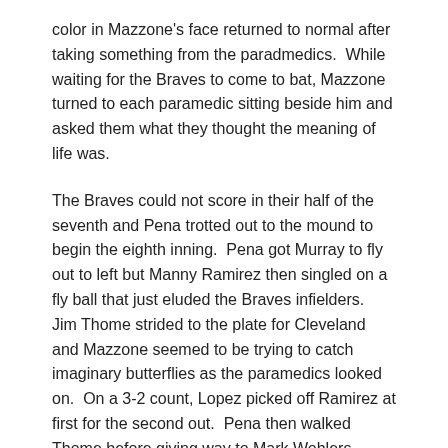color in Mazzone's face returned to normal after taking something from the paradmedics.  While waiting for the Braves to come to bat, Mazzone turned to each paramedic sitting beside him and asked them what they thought the meaning of life was.
The Braves could not score in their half of the seventh and Pena trotted out to the mound to begin the eighth inning.  Pena got Murray to fly out to left but Manny Ramirez then singled on a fly ball that just eluded the Braves infielders.  Jim Thome strided to the plate for Cleveland and Mazzone seemed to be trying to catch imaginary butterflies as the paramedics looked on.  On a 3-2 count, Lopez picked off Ramirez at first for the second out.  Pena then walked Thome before giving way to Mark Wohlers.  Wohlers coaxed Sorrento to fly out to Grissom for the final out of the inning, and Mazzone began to giggle uncontrollably.
The Braves went quietly in the bottom of the eight before Wohlers closed out the game in the ninth.  The Braves held on for a 4-3 win and a 2-0 lead in the Series.  After the game,